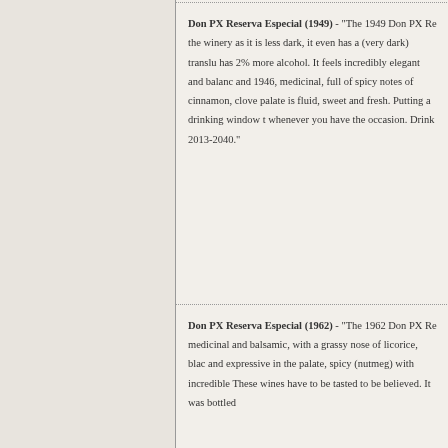Don PX Reserva Especial (1949) - "The 1949 Don PX Re... the winery as it is less dark, it even has a (very dark) translu... has 2% more alcohol. It feels incredibly elegant and balanc... and 1946, medicinal, full of spicy notes of cinnamon, clove... palate is fluid, sweet and fresh. Putting a drinking window t... whenever you have the occasion. Drink 2013-2040."
Don PX Reserva Especial (1962) - "The 1962 Don PX Re... medicinal and balsamic, with a grassy nose of licorice, blac... and expressive in the palate, spicy (nutmeg) with incredible... These wines have to be tasted to be believed. It was bottled...
Don PX Pedro Ximénez (2008) - "Colour: dark mahogany... honeyed notes. Palate: spirituous, flavourful, toasty, spicy, b...